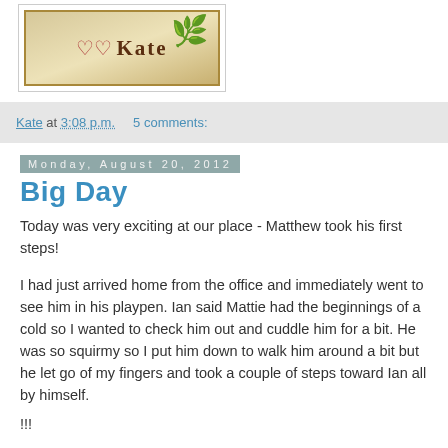[Figure (photo): Blog header image showing a decorative sign with two hearts and the name 'Kate' in serif font, with a dark bird/plant silhouette to the right, all with a golden ornate border]
Kate at 3:08 p.m.    5 comments:
Monday, August 20, 2012
Big Day
Today was very exciting at our place - Matthew took his first steps!
I had just arrived home from the office and immediately went to see him in his playpen. Ian said Mattie had the beginnings of a cold so I wanted to check him out and cuddle him for a bit. He was so squirmy so I put him down to walk him around a bit but he let go of my fingers and took a couple of steps toward Ian all by himself.
!!!